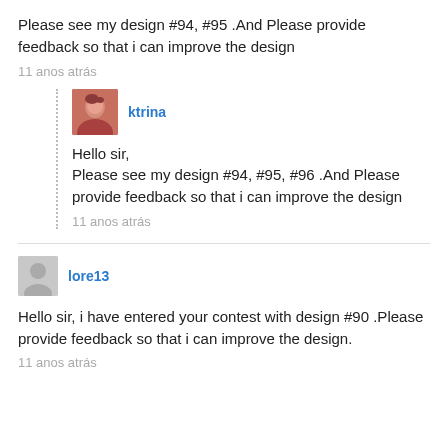Please see my design #94, #95 .And Please provide feedback so that i can improve the design
11 anos atrás
ktrina
Hello sir,
Please see my design #94, #95, #96 .And Please provide feedback so that i can improve the design
11 anos atrás
lore13
Hello sir, i have entered your contest with design #90 .Please provide feedback so that i can improve the design.
11 anos atrás